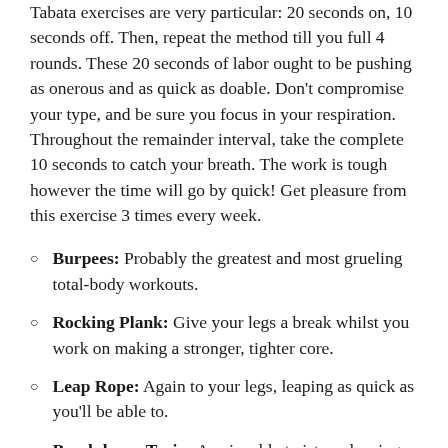Tabata exercises are very particular: 20 seconds on, 10 seconds off. Then, repeat the method till you full 4 rounds. These 20 seconds of labor ought to be pushing as onerous and as quick as doable. Don't compromise your type, and be sure you focus in your respiration. Throughout the remainder interval, take the complete 10 seconds to catch your breath. The work is tough however the time will go by quick! Get pleasure from this exercise 3 times every week.
Burpees: Probably the greatest and most grueling total-body workouts.
Rocking Plank: Give your legs a break whilst you work on making a stronger, tighter core.
Leap Rope: Again to your legs, leaping as quick as you'll be able to.
Breakdance Train: A enjoyable twist on dancing to construct a stronger core and toned arms.